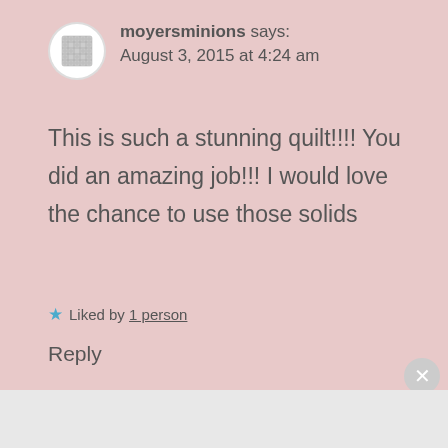[Figure (illustration): A circular avatar icon with a quilt/grid pattern in gray and white dots on a white background]
moyersminions says:
August 3, 2015 at 4:24 am
This is such a stunning quilt!!!! You did an amazing job!!! I would love the chance to use those solids
★ Liked by 1 person
Reply
Advertisements